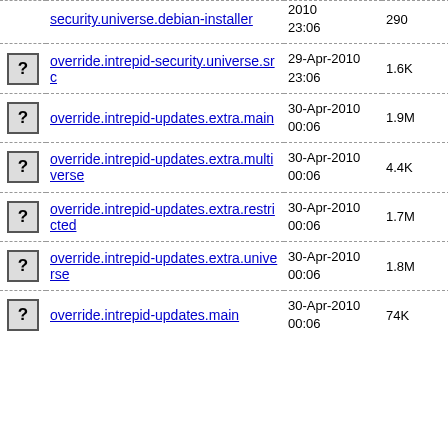| icon | name | date | size |
| --- | --- | --- | --- |
| [?] | override.intrepid-security.universe.debian-installer | 29-Apr-2010 23:06 | 290 |
| [?] | override.intrepid-security.universe.src | 29-Apr-2010 23:06 | 1.6K |
| [?] | override.intrepid-updates.extra.main | 30-Apr-2010 00:06 | 1.9M |
| [?] | override.intrepid-updates.extra.multiverse | 30-Apr-2010 00:06 | 4.4K |
| [?] | override.intrepid-updates.extra.restricted | 30-Apr-2010 00:06 | 1.7M |
| [?] | override.intrepid-updates.extra.universe | 30-Apr-2010 00:06 | 1.8M |
| [?] | override.intrepid-updates.main | 30-Apr-2010 00:06 | 74K |